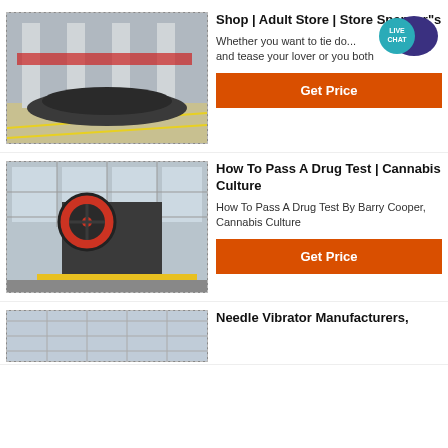[Figure (photo): Industrial facility interior with large machinery and columns]
Shop | Adult Store | Store Spencer"s
Whether you want to tie do... and tease your lover or you both
Get Price
[Figure (photo): Industrial jaw crusher machine in a factory]
How To Pass A Drug Test | Cannabis Culture
How To Pass A Drug Test By Barry Cooper, Cannabis Culture
Get Price
[Figure (photo): Partial view of industrial equipment]
Needle Vibrator Manufacturers,